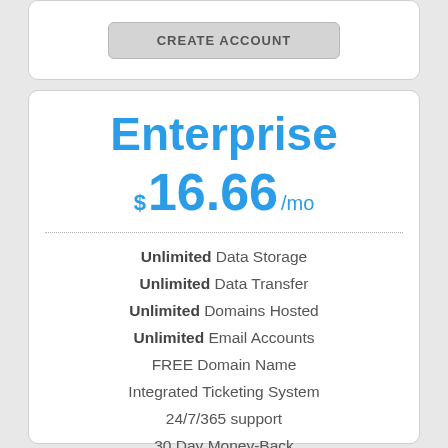CREATE ACCOUNT
Enterprise
$16.66/mo
Unlimited Data Storage
Unlimited Data Transfer
Unlimited Domains Hosted
Unlimited Email Accounts
FREE Domain Name
Integrated Ticketing System
24/7/365 support
30 Day Money-Back
1-Click 40+ Scripts Installer
30-Day Free Trial